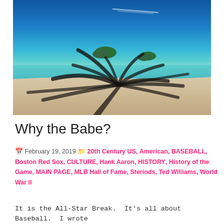[Figure (photo): Tropical beach scene with turquoise water, small green islands in the background, white sand beach, and dark shadow of a palm tree stretching across the foreground]
Why the Babe?
February 19, 2019  20th Century US, American, BASEBALL, Boston Red Sox, CULTURE, Hank Aaron, HISTORY, History of the Game, MAIN PAGE, MLB Hall of Fame, Steriods, Ted Williams, World War II
It is the All-Star Break.  It's all about Baseball.  I wrote this on December 6, 2017. He was out of shape,